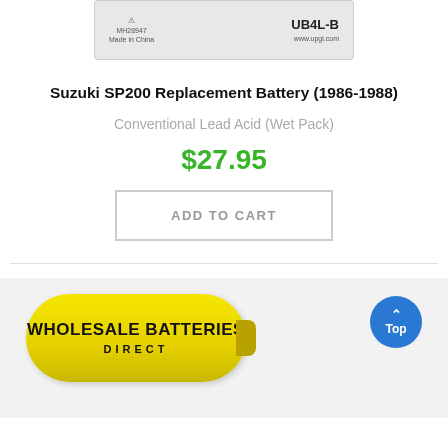[Figure (photo): Partial view of a battery product (UB4L-B, Made in China, www.upgi.com label visible) — cropped at top of page]
Suzuki SP200 Replacement Battery (1986-1988)
Conventional Lead Acid (Wet Pack)
$27.95
ADD TO CART
[Figure (logo): Wholesale Batteries Direct logo — yellow battery shape with bold black text 'WHOLESALE BATTERIES DIRECT']